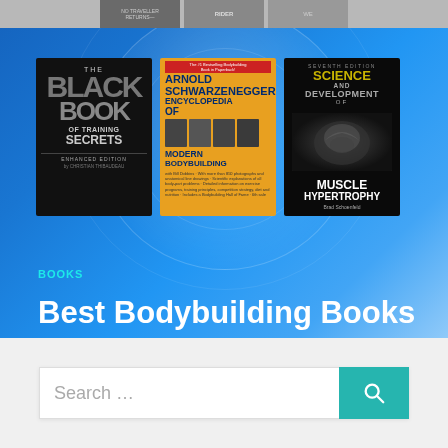[Figure (illustration): Top banner showing partial book covers in grayscale]
[Figure (illustration): Blue gradient hero section with three bodybuilding book covers: 'The Black Book of Training Secrets Enhanced Edition by Christian Thibaudeau', 'Arnold Schwarzenegger Encyclopedia of Modern Bodybuilding', and 'Science and Development of Muscle Hypertrophy by Brad Schoenfeld']
BOOKS
Best Bodybuilding Books
[Figure (other): Search bar with placeholder 'Search ...' and teal search button with magnifying glass icon]